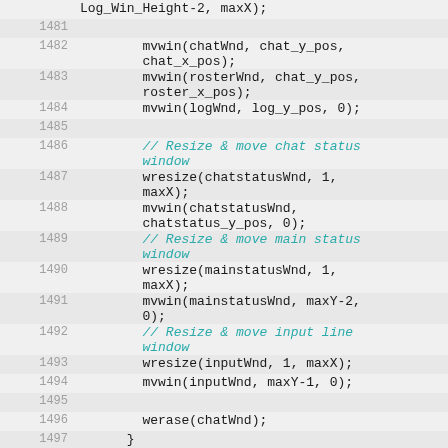1481 (blank)
1482 mvwin(chatWnd, chat_y_pos, chat_x_pos);
1483 mvwin(rosterWnd, chat_y_pos, roster_x_pos);
1484 mvwin(logWnd, log_y_pos, 0);
1485 (blank)
1486 // Resize & move chat status window
1487 wresize(chatstatusWnd, 1, maxX);
1488 mvwin(chatstatusWnd, chatstatus_y_pos, 0);
1489 // Resize & move main status window
1490 wresize(mainstatusWnd, 1, maxX);
1491 mvwin(mainstatusWnd, maxY-2, 0);
1492 // Resize & move input line window
1493 wresize(inputWnd, 1, maxX);
1494 mvwin(inputWnd, maxY-1, 0);
1495 (blank)
1496 werase(chatWnd);
1497 }
1498 (blank)
1499 /* Draw/init windows */
1500 ...